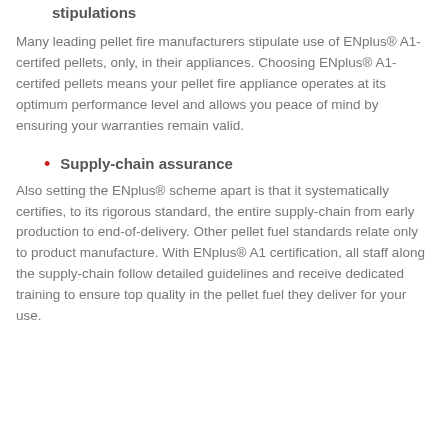stipulations
Many leading pellet fire manufacturers stipulate use of ENplus® A1-certifed pellets, only, in their appliances. Choosing ENplus® A1-certifed pellets means your pellet fire appliance operates at its optimum performance level and allows you peace of mind by ensuring your warranties remain valid.
Supply-chain assurance
Also setting the ENplus® scheme apart is that it systematically certifies, to its rigorous standard, the entire supply-chain from early production to end-of-delivery. Other pellet fuel standards relate only to product manufacture. With ENplus® A1 certification, all staff along the supply-chain follow detailed guidelines and receive dedicated training to ensure top quality in the pellet fuel they deliver for your use.